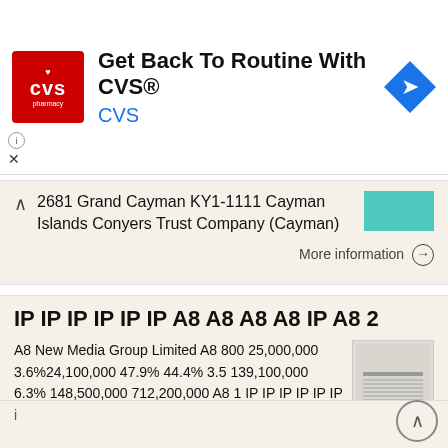[Figure (screenshot): CVS Pharmacy advertisement banner with red logo, text 'Get Back To Routine With CVS®', blue 'CVS' subtitle, and a blue navigation icon on the right.]
2681 Grand Cayman KY1-1111 Cayman Islands Conyers Trust Company (Cayman)
More information →
IP IP IP IP IP IP A8 A8 A8 A8 IP A8 2
A8 New Media Group Limited A8 800 25,000,000 3.6%24,100,000 47.9% 44.4% 3.5 139,100,000 6.3% 148,500,000 712,200,000 A8 1 IP IP IP IP IP IP A8 A8 A8 A8 IP A8 2 IP A8 IP 5% 5% 10% 100 IP 2,168 200 300 2
More information →
i